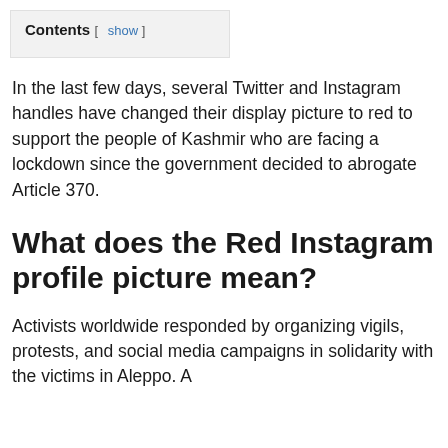Contents [ show ]
In the last few days, several Twitter and Instagram handles have changed their display picture to red to support the people of Kashmir who are facing a lockdown since the government decided to abrogate Article 370.
What does the Red Instagram profile picture mean?
Activists worldwide responded by organizing vigils, protests, and social media campaigns in solidarity with the victims in Aleppo. A